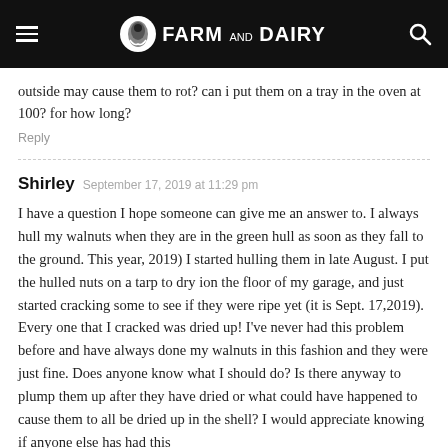Farm and Dairy
outside may cause them to rot? can i put them on a tray in the oven at 100? for how long?
Reply
Shirley  September 17, 2019 at 11:29 pm
I have a question I hope someone can give me an answer to. I always hull my walnuts when they are in the green hull as soon as they fall to the ground. This year, 2019) I started hulling them in late August. I put the hulled nuts on a tarp to dry ion the floor of my garage, and just started cracking some to see if they were ripe yet (it is Sept. 17,2019). Every one that I cracked was dried up! I've never had this problem before and have always done my walnuts in this fashion and they were just fine. Does anyone know what I should do? Is there anyway to plump them up after they have dried or what could have happened to cause them to all be dried up in the shell? I would appreciate knowing if anyone else has had this